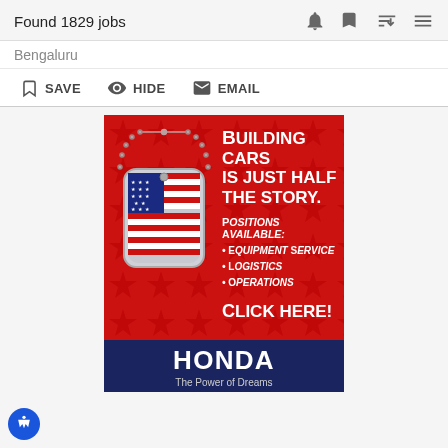Found 1829 jobs
Bengaluru
SAVE  HIDE  EMAIL
[Figure (infographic): Honda job advertisement on red background with American flag dog tag. Text: Building Cars Is Just Half The Story. Positions Available: Equipment Service, Logistics, Operations. Click Here! Honda The Power of Dreams.]